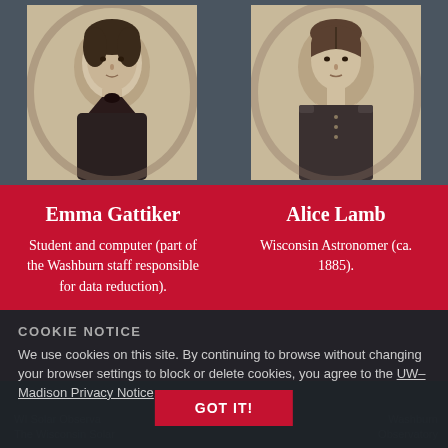[Figure (photo): Sepia-toned historical portrait photograph of Emma Gattiker]
[Figure (photo): Sepia-toned historical portrait photograph of Alice Lamb]
Emma Gattiker
Student and computer (part of the Washburn staff responsible for data reduction).
Alice Lamb
Wisconsin Astronomer (ca. 1885).
COOKIE NOTICE
We use cookies on this site. By continuing to browse without changing your browser settings to block or delete cookies, you agree to the UW–Madison Privacy Notice.
GOT IT!
WI Solar Observatory   Washburn Observatory
The Wisconsin Solar...   Observatory